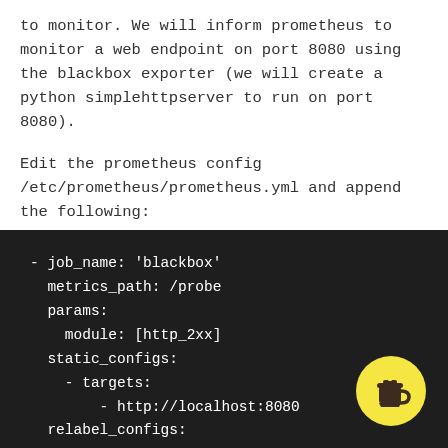to monitor. We will inform prometheus to monitor a web endpoint on port 8080 using the blackbox exporter (we will create a python simplehttpserver to run on port 8080).
Edit the prometheus config /etc/prometheus/prometheus.yml and append the following:
[Figure (screenshot): Dark-themed code block showing YAML configuration: - job_name: 'blackbox' metrics_path: /probe params: module: [http_2xx] static_configs: - targets: - http://localhost:8080 relabel_configs: ...]